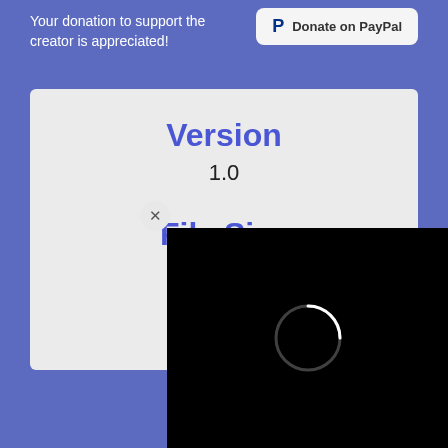Your donation to support the creator is appreciated!
[Figure (other): PayPal donate button]
Version
1.0
File Size
171.94 MB
Downl
[Figure (other): Black overlay with loading spinner circle and close button]